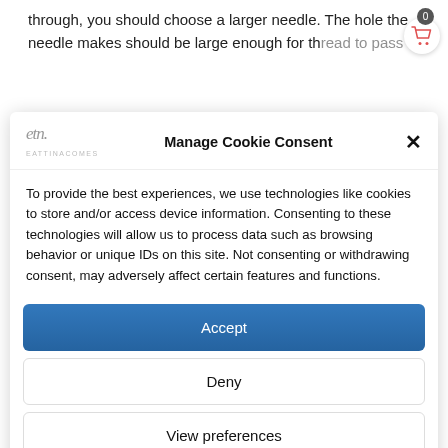through, you should choose a larger needle. The hole the needle makes should be large enough for the thread to pass through without too much...
[Figure (screenshot): Cookie consent modal dialog with logo, title 'Manage Cookie Consent', close button, body text, Accept/Deny/View preferences buttons, and Cookie Policy and Privacy Policy links.]
Manage Cookie Consent
To provide the best experiences, we use technologies like cookies to store and/or access device information. Consenting to these technologies will allow us to process data such as browsing behavior or unique IDs on this site. Not consenting or withdrawing consent, may adversely affect certain features and functions.
Accept
Deny
View preferences
Cookie Policy   Privacy Policy